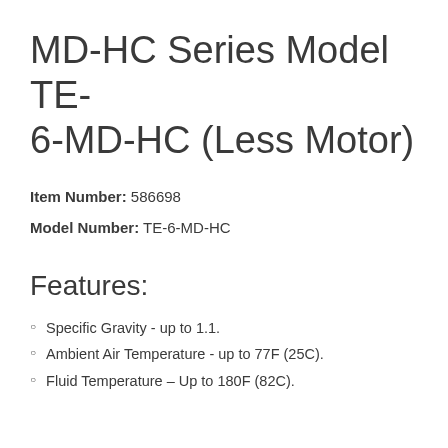MD-HC Series Model TE-6-MD-HC (Less Motor)
Item Number: 586698
Model Number: TE-6-MD-HC
Features:
Specific Gravity - up to 1.1.
Ambient Air Temperature - up to 77F (25C).
Fluid Temperature – Up to 180F (82C).